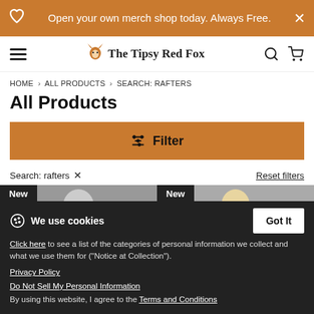Open your own merch shop today. Always Free.
The Tipsy Red Fox
HOME > ALL PRODUCTS > SEARCH: RAFTERS
All Products
Filter
Search: rafters ×
Reset filters
[Figure (photo): Product thumbnail with 'New' badge showing a person wearing a shirt]
[Figure (photo): Product thumbnail with 'New' badge showing a person wearing a shirt]
We use cookies
Click here to see a list of the categories of personal information we collect and what we use them for ("Notice at Collection").
Privacy Policy
Do Not Sell My Personal Information
By using this website, I agree to the Terms and Conditions